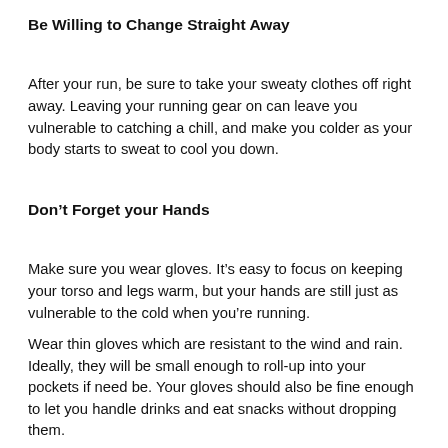Be Willing to Change Straight Away
After your run, be sure to take your sweaty clothes off right away. Leaving your running gear on can leave you vulnerable to catching a chill, and make you colder as your body starts to sweat to cool you down.
Don’t Forget your Hands
Make sure you wear gloves. It’s easy to focus on keeping your torso and legs warm, but your hands are still just as vulnerable to the cold when you’re running.
Wear thin gloves which are resistant to the wind and rain. Ideally, they will be small enough to roll-up into your pockets if need be. Your gloves should also be fine enough to let you handle drinks and eat snacks without dropping them.
You may also want to put your gloves into a waterproof backpack, as with any snacks or drinks.